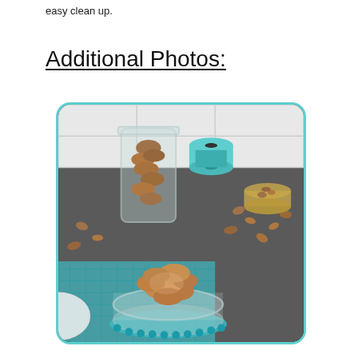easy clean up.
Additional Photos:
[Figure (photo): Photo of candied pecans/walnuts in glass jars and scattered on a dark baking sheet, with a teal ribbon spool and blue gingham cloth in the background.]